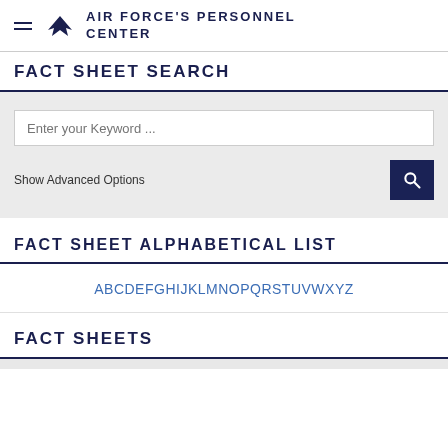AIR FORCE'S PERSONNEL CENTER
FACT SHEET SEARCH
Enter your Keyword ...
Show Advanced Options
FACT SHEET ALPHABETICAL LIST
ABCDEFGHIJKLMNOPQRSTUVWXYZ
FACT SHEETS